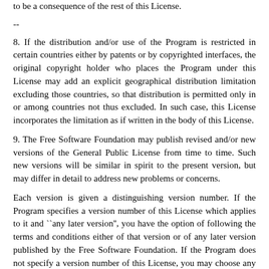to be a consequence of the rest of this License.
--
8. If the distribution and/or use of the Program is restricted in certain countries either by patents or by copyrighted interfaces, the original copyright holder who places the Program under this License may add an explicit geographical distribution limitation excluding those countries, so that distribution is permitted only in or among countries not thus excluded. In such case, this License incorporates the limitation as if written in the body of this License.
9. The Free Software Foundation may publish revised and/or new versions of the General Public License from time to time. Such new versions will be similar in spirit to the present version, but may differ in detail to address new problems or concerns.
Each version is given a distinguishing version number. If the Program specifies a version number of this License which applies to it and ``any later version'', you have the option of following the terms and conditions either of that version or of any later version published by the Free Software Foundation. If the Program does not specify a version number of this License, you may choose any version ever published by the Free Software Foundation.
10. If you wish to incorporate parts of the Program into other free